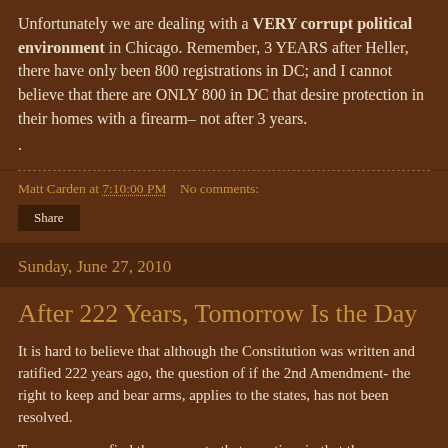Unfortunately we are dealing with a VERY corrupt political environment in Chicago. Remember, 3 YEARS after Heller, there have only been 800 registrations in DC; and I cannot believe that there are ONLY 800 in DC that desire protection in their homes with a firearm– not after 3 years.
.
Matt Carden at 7:10:00 PM   No comments:
Share
Sunday, June 27, 2010
After 222 Years, Tomorrow Is the Day
It is hard to believe that although the Constitution was written and ratified 222 years ago, the question of if the 2nd Amendment- the right to keep and bear arms, applies to the states, has not been resolved.
Tomorrow, we find the answer to that question, in that the